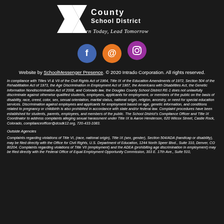[Figure (logo): Douglas County School District logo with large X/arrow shape, text 'School District' and tagline 'Learn Today, Lead Tomorrow']
[Figure (infographic): Three social media icon circles: Facebook (blue, f), Email/@ (orange, @), Instagram (purple, camera icon)]
Website by SchoolMessenger Presence. © 2020 Intrado Corporation. All rights reserved.
In compliance with Titles VI & VII of the Civil Rights Act of 1964, Title IX of the Education Amendments of 1972, Section 504 of the Rehabilitation Act of 1973, the Age Discrimination in Employment Act of 1967, the Americans with Disabilities Act, the Genetic Information Nondiscrimination Act of 2008, and Colorado law, the Douglas County School District RE-1 does not unlawfully discriminate against otherwise qualified students, employees, applicants for employment, or members of the public on the basis of disability, race, creed, color, sex, sexual orientation, marital status, national origin, religion, ancestry, or need for special education services. Discrimination against employees and applicants for employment based on age, genetic information, and conditions related to pregnancy or childbirth is also prohibited in accordance with state and/or federal law. Complaint procedures have been established for students, parents, employees, and members of the public. The School District's Compliance Officer and Title IX Coordinator to address complaints alleging sexual harassment under Title IX is Aaron Henderson, 620 Wilcox Street, Castle Rock, Colorado, complianceofficer@dcsdk12.org, 720-433-1083.
Outside Agencies
Complaints regarding violations of Title VI, (race, national origin), Title IX (sex, gender), Section 504/ADA (handicap or disability), may be filed directly with the Office for Civil Rights, U.S. Department of Education, 1244 North Speer Blvd., Suite 310, Denver, CO 80204. Complaints regarding violations of Title VII (employment) and the ADEA (prohibiting age discrimination in employment) may be filed directly with the Federal Office of Equal Employment Opportunity Commission, 303 E. 17th Ave., Suite 510,